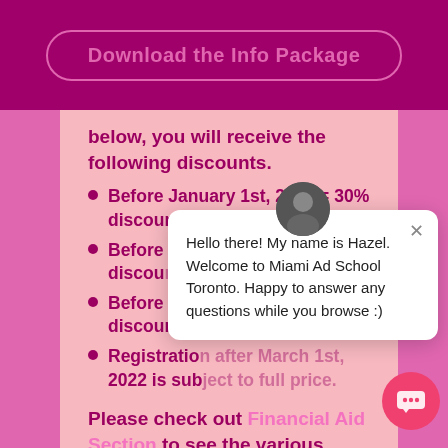[Figure (screenshot): Download the Info Package button with pink outline on dark magenta background]
below, you will receive the following discounts.
Before January 1st, 2022 = 30% discount.
Before February 1st, 2022 = 20% discount.
Before March [1st, 2022 = 10%] discount.
Registration [after March 1st,] 2022 is sub[ject to full price].
Please check out Financial Aid Section to see the various scholarships and payment
[Figure (screenshot): Chat popup from Hazel saying: Hello there! My name is Hazel. Welcome to Miami Ad School Toronto. Happy to answer any questions while you browse :)]